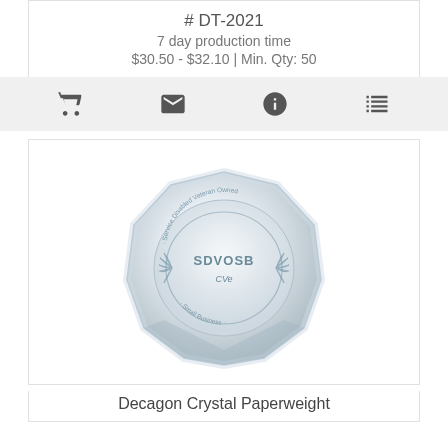# DT-2021
7 day production time
$30.50 - $32.10 | Min. Qty: 50
[Figure (infographic): Icon bar with four icons: shopping cart, envelope, info circle, and list/menu icon]
[Figure (photo): Photo of a Decagon Crystal Paperweight with SDVOSB CVE engraving in the center, octagonal crystal shape]
Decagon Crystal Paperweight